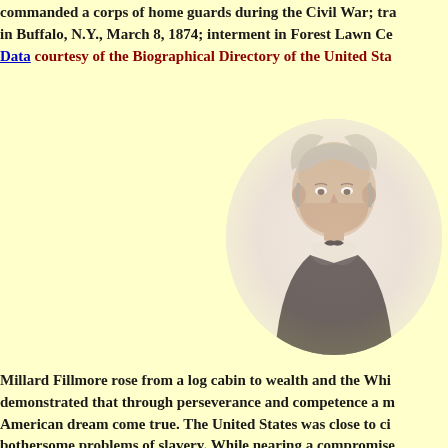commanded a corps of home guards during the Civil War; tra... in Buffalo, N.Y., March 8, 1874; interment in Forest Lawn Ce...
Data courtesy of the Biographical Directory of the United Sta...
[Figure (illustration): Engraved portrait of Millard Fillmore, showing an elderly man with white hair, wearing a dark suit and bow tie, in an oval vignette style.]
Millard Fillmore rose from a log cabin to wealth and the Whi... demonstrated that through perseverance and competence a m... American dream come true. The United States was close to ci... bothersome problems of slavery. While nearing a compromise... Taylor suddenly died. Vice President Millard Fillmore assume...